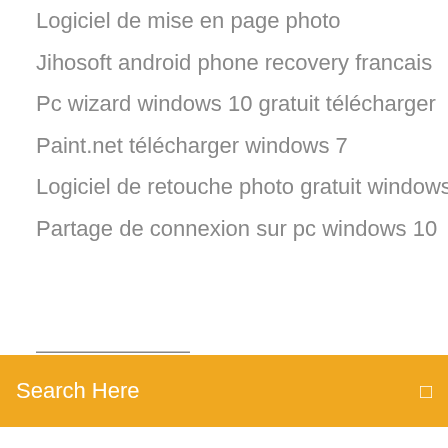Logiciel de mise en page photo
Jihosoft android phone recovery francais
Pc wizard windows 10 gratuit télécharger
Paint.net télécharger windows 7
Logiciel de retouche photo gratuit windows 7
Partage de connexion sur pc windows 10
[Figure (screenshot): Orange search bar with text 'Search Here' and a small icon on the right]
Importer maison sweet home 3d
Eyes the horror game 2d
Visual c++ redistributable for visual studio 2019 x64
Convertir msg en pdf en ligne
Oki doki literature club minecraft
Magix samplitude music studio 2019 handbuch
Pas de son windows media player 12
Paf le chien run run apk
Naruto shippuden game android apk
Microsoft autoroute 2007 gratuit télécharger